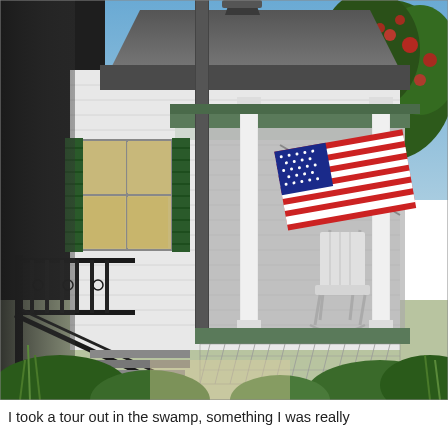[Figure (photo): Photograph of a white Victorian-style house front porch with green shutters on a window to the left, two white columns supporting the porch roof, an American flag hanging diagonally from a flagpole on the porch, a white rocking chair on the porch, ornate black wrought-iron fence and stair railings in the foreground, lush green shrubs and a flowering red tree in the background, and blue sky visible at top.]
I took a tour out in the swamp, something I was really